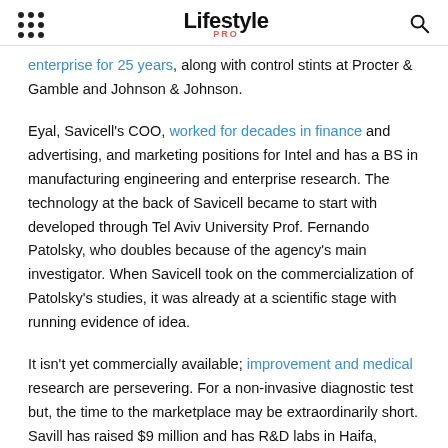Lifestyle PRO
enterprise for 25 years, along with control stints at Procter & Gamble and Johnson & Johnson.
Eyal, Savicell's COO, worked for decades in finance and advertising, and marketing positions for Intel and has a BS in manufacturing engineering and enterprise research. The technology at the back of Savicell became to start with developed through Tel Aviv University Prof. Fernando Patolsky, who doubles because of the agency's main investigator. When Savicell took on the commercialization of Patolsky's studies, it was already at a scientific stage with running evidence of idea.
It isn't yet commercially available; improvement and medical research are persevering. For a non-invasive diagnostic test but, the time to the marketplace may be extraordinarily short. Savill has raised $9 million and has R&D labs in Haifa, headed via